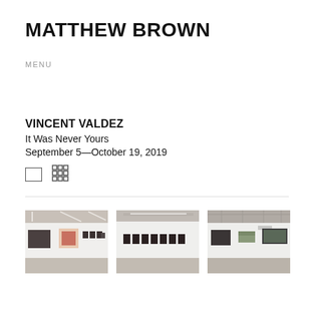MATTHEW BROWN
MENU
VINCENT VALDEZ
It Was Never Yours
September 5—October 19, 2019
[Figure (photo): Gallery installation view showing large artworks on white walls with concrete floor]
[Figure (photo): Gallery installation view showing a row of framed artworks on white walls]
[Figure (photo): Gallery installation view showing large paintings on white walls with concrete floor]